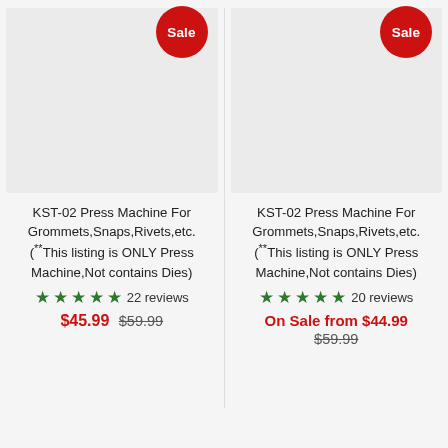[Figure (photo): Product image placeholder for KST-02 Press Machine (left card), light gray rectangle with red Sale badge]
KST-02 Press Machine For Grommets,Snaps,Rivets,etc. (**This listing is ONLY Press Machine,Not contains Dies)
★★★★★ 22 reviews
$45.99 $59.99
[Figure (photo): Product image placeholder for KST-02 Press Machine (right card), light gray rectangle with red Sale badge]
KST-02 Press Machine For Grommets,Snaps,Rivets,etc. (**This listing is ONLY Press Machine,Not contains Dies)
★★★★★ 20 reviews
On Sale from $44.99 $59.99